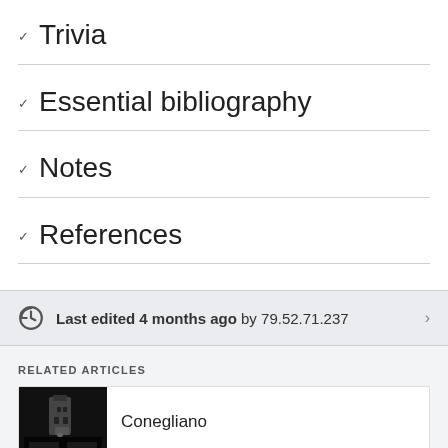Trivia
Essential bibliography
Notes
References
Last edited 4 months ago by 79.52.71.237
RELATED ARTICLES
Conegliano